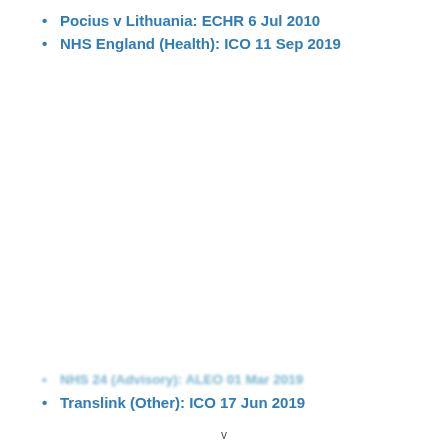Pocius v Lithuania: ECHR 6 Jul 2010
NHS England (Health): ICO 11 Sep 2019
[Figure (other): Chat bubble overlay with text 'Want to ask a Solicitor online now? I can connect you ...' and a circular avatar photo of a woman smiling]
NHS 24 (Advisory): ALEO 01 Mar 2019
Translink (Other): ICO 17 Jun 2019
v